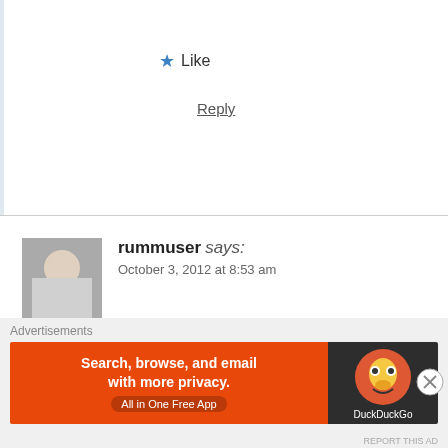★ Like
Reply
rummuser says:
October 3, 2012 at 8:53 am
Hi Barbara. I come via Grannymar's blog. Ask Elly abo
I, like most males, have exactly four pairs of shoes two and casual wear. I also have two shoes for walking one washed and drying.
I normally use sandals and slippers and rarely get to we
[Figure (screenshot): DuckDuckGo advertisement banner: orange left section with text 'Search, browse, and email with more privacy. All in One Free App' and dark right section with DuckDuckGo duck logo]